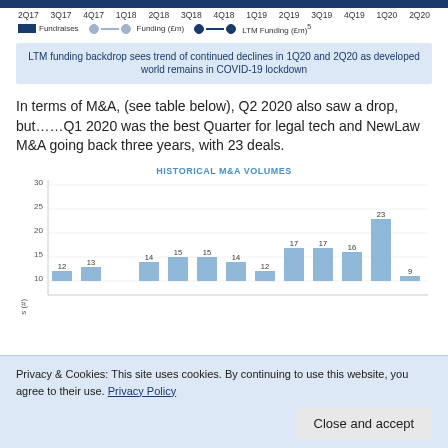[Figure (line-chart): Top strip from chart above — x-axis labels for quarters 2Q17 through 2Q20 with legend for Fundraises, Funding (£m), LTM Funding (£m)]
LTM funding backdrop sees trend of continued declines in 1Q20 and 2Q20 as developed world remains in COVID-19 lockdown
In terms of M&A, (see table below), Q2 2020 also saw a drop, but……Q1 2020 was the best Quarter for legal tech and NewLaw M&A going back three years, with 23 deals.
[Figure (bar-chart): HISTORICAL M&A VOLUMES]
Privacy & Cookies: This site uses cookies. By continuing to use this website, you agree to their use. Privacy Policy